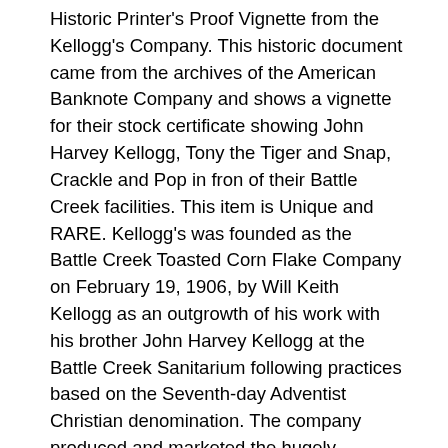Historic Printer's Proof Vignette from the Kellogg's Company. This historic document came from the archives of the American Banknote Company and shows a vignette for their stock certificate showing John Harvey Kellogg, Tony the Tiger and Snap, Crackle and Pop in fron of their Battle Creek facilities. This item is Unique and RARE. Kellogg's was founded as the Battle Creek Toasted Corn Flake Company on February 19, 1906, by Will Keith Kellogg as an outgrowth of his work with his brother John Harvey Kellogg at the Battle Creek Sanitarium following practices based on the Seventh-day Adventist Christian denomination. The company produced and marketed the hugely successful Kellogg's Toasted Corn Flakes and was renamed the Kellogg Company in 1922. In 1930, the Kellogg Company announced that most of its factories would shift towards 30 hour work weeks, from the usual 40.